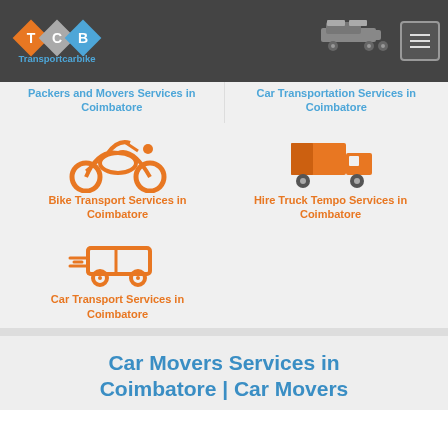[Figure (logo): TCB Transportcarbike logo with three diamond shapes in orange, gray, and blue]
[Figure (illustration): Silhouette of a car transport truck on dark header background]
Packers and Movers Services in Coimbatore
Car Transportation Services in Coimbatore
[Figure (illustration): Orange motorcycle icon]
Bike Transport Services in Coimbatore
[Figure (illustration): Orange truck icon]
Hire Truck Tempo Services in Coimbatore
[Figure (illustration): Orange delivery van with speed lines icon]
Car Transport Services in Coimbatore
Car Movers Services in Coimbatore | Car Movers